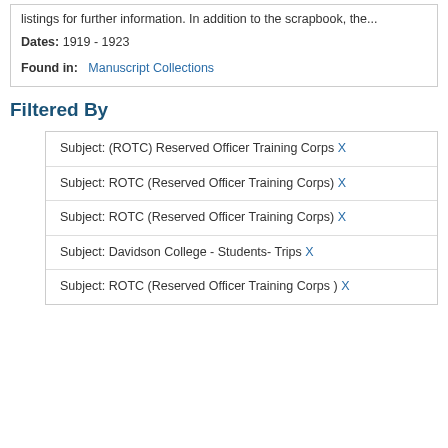listings for further information. In addition to the scrapbook, the...
Dates: 1919 - 1923
Found in: Manuscript Collections
Filtered By
Subject: (ROTC) Reserved Officer Training Corps X
Subject: ROTC (Reserved Officer Training Corps) X
Subject: ROTC (Reserved Officer Training Corps) X
Subject: Davidson College - Students- Trips X
Subject: ROTC (Reserved Officer Training Corps ) X